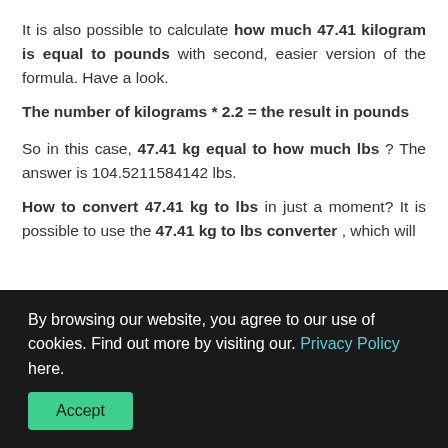It is also possible to calculate how much 47.41 kilogram is equal to pounds with second, easier version of the formula. Have a look.
The number of kilograms * 2.2 = the result in pounds
So in this case, 47.41 kg equal to how much lbs ? The answer is 104.5211584142 lbs.
How to convert 47.41 kg to lbs in just a moment? It is possible to use the 47.41 kg to lbs converter , which will
By browsing our website, you agree to our use of cookies. Find out more by visiting our. Privacy Policy here. Accept